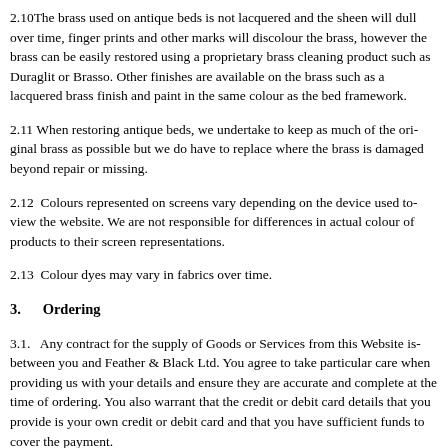2.10 The brass used on antique beds is not lacquered and the sheen will dull over time, finger prints and other marks will discolour the brass, however the brass can be easily restored using a proprietary brass cleaning product such as Duraglit or Brasso. Other finishes are available on the brass such as a lacquered brass finish and paint in the same colour as the bed framework.
2.11 When restoring antique beds, we undertake to keep as much of the original brass as possible but we do have to replace where the brass is damaged beyond repair or missing.
2.12 Colours represented on screens vary depending on the device used to view the website. We are not responsible for differences in actual colour of products to their screen representations.
2.13 Colour dyes may vary in fabrics over time.
3. Ordering
3.1. Any contract for the supply of Goods or Services from this Website is between you and Feather & Black Ltd. You agree to take particular care when providing us with your details and warrant that the details you provide are accurate and complete at the time of ordering. You also warrant that the credit or debit card details that you provide is your own credit or debit card and that you have sufficient funds to cover the payment.
3.2. We will take all reasonable care, in so far as it is in our power, to keep the details of your order and payment secure, but in the absence of negligence on our part we cannot be held liable for any loss you may suffer if a third party procures unauthorised access to any data you provide...